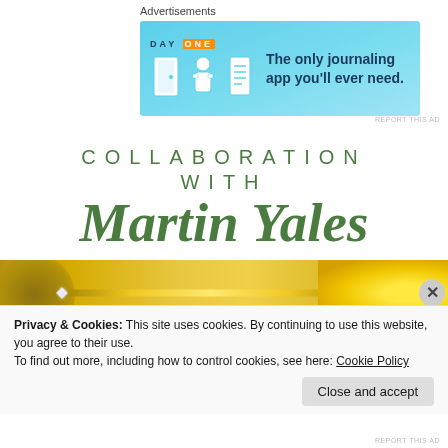Advertisements
[Figure (illustration): Day One journaling app advertisement banner with blue background, icons and text: 'The only journaling app you'll ever need.']
REPORT THIS AD
COLLABORATION WITH Martin Yales
[Figure (photo): Photo of a gold pen with yellow flowers on a gold background]
Privacy & Cookies: This site uses cookies. By continuing to use this website, you agree to their use. To find out more, including how to control cookies, see here: Cookie Policy
Close and accept